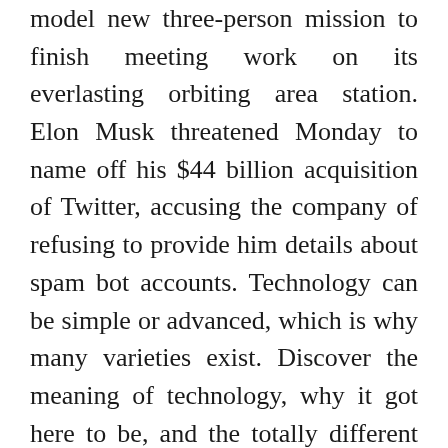model new three-person mission to finish meeting work on its everlasting orbiting area station. Elon Musk threatened Monday to name off his $44 billion acquisition of Twitter, accusing the company of refusing to provide him details about spam bot accounts. Technology can be simple or advanced, which is why many varieties exist. Discover the meaning of technology, why it got here to be, and the totally different varieties that encompass us.
ASML's attorneys said they weren't capable of be taught the total scope of Lan's actions. After ASML informed Xtal of its